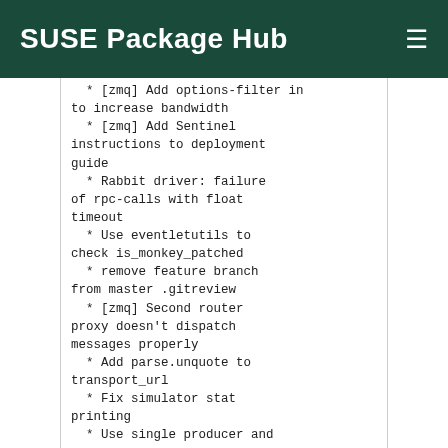SUSE Package Hub
* [zmq] Add options-filter in
to increase bandwidth
  * [zmq] Add Sentinel
instructions to deployment
guide
  * Rabbit driver: failure
of rpc-calls with float
timeout
  * Use eventletutils to
check is_monkey_patched
  * remove feature branch
from master .gitreview
  * [zmq] Second router
proxy doesn't dispatch
messages properly
  * Add parse.unquote to
transport_url
  * Fix simulator stat
printing
  * Use single producer and
to avoid an exchange
redeclaration
  * [zmq] Redesign router
proxy
  * Add feature branch to
.gitreview file
  * Remove Beta development
status from classifiers
  * Updated from global
requirements
  * Fixes sumulator.py
signal_handler logic
  * Refactor RPC client
  * Send notify if